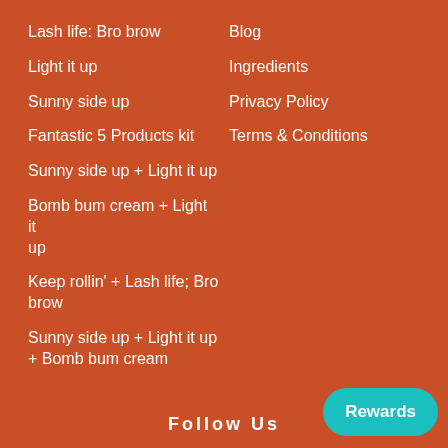Lash life: Bro brow
Light it up
Sunny side up
Fantastic 5 Products kit
Sunny side up + Light it up
Bomb bum cream + Light it up
Keep rollin' + Lash life; Bro brow
Sunny side up + Light it up + Bomb bum cream
Blog
Ingredients
Privacy Policy
Terms & Conditions
Follow Us
[Figure (infographic): Social media icons: Facebook, Twitter, Instagram, Pinterest, YouTube, LinkedIn]
© Malpani Products Pvt Ltd
Rewards